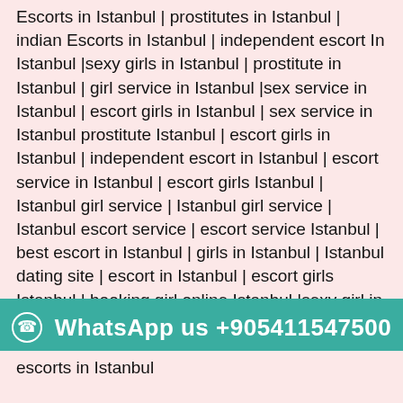Escorts in Istanbul | prostitutes in Istanbul | indian Escorts in Istanbul | independent escort In Istanbul |sexy girls in Istanbul | prostitute in Istanbul | girl service in Istanbul |sex service in Istanbul | escort girls in Istanbul | sex service in Istanbul prostitute Istanbul | escort girls in Istanbul | independent escort in Istanbul | escort service in Istanbul | escort girls Istanbul | Istanbul girl service | Istanbul girl service | Istanbul escort service | escort service Istanbul | best escort in Istanbul | girls in Istanbul | Istanbul dating site | escort in Istanbul | escort girls Istanbul | booking girl online Istanbul |sexy girl in Istanbul | Istanbul escort girl | escorts for hire Istanbul | escort girl Istanbul | Istanbul escort agency | Istanbul sexy girl | escorts escort agency in Istanbul | female escort in Istanbul | Istanbul female escort | indian escort Istanbul | Istanbul girls | escort in Istanbul | escort agency in Istanbul | Istanbul girls | girls in Istanbul |
[Figure (other): WhatsApp contact bar with icon and phone number +905411547500]
escorts in Istanbul